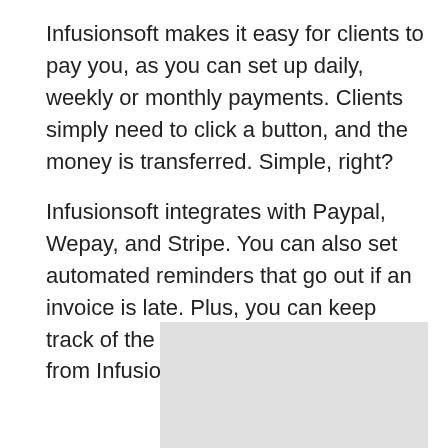Infusionsoft makes it easy for clients to pay you, as you can set up daily, weekly or monthly payments. Clients simply need to click a button, and the money is transferred. Simple, right?
Infusionsoft integrates with Paypal, Wepay, and Stripe. You can also set automated reminders that go out if an invoice is late. Plus, you can keep track of the money you have coming in from Infusionsoft’s dashboard.
[Figure (screenshot): A light gray placeholder rectangle representing a screenshot or image of Infusionsoft's dashboard.]